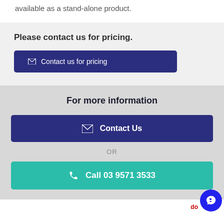available as a stand-alone product.
Please contact us for pricing.
Contact us for pricing
For more information
Contact Us
OR
Call 03 9571 3533